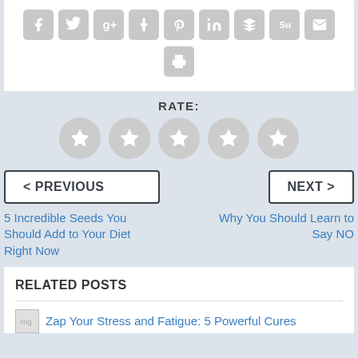[Figure (infographic): Row of social media sharing icon buttons (Facebook, Twitter, Google+, Tumblr, Pinterest, LinkedIn, Buffer, StumbleUpon, Email) in grey rounded squares, plus a print icon button below them]
RATE:
[Figure (infographic): Five grey star rating circles in a row]
< PREVIOUS
NEXT >
5 Incredible Seeds You Should Add to Your Diet Right Now
Why You Should Learn to Say NO
RELATED POSTS
Zap Your Stress and Fatigue: 5 Powerful Cures